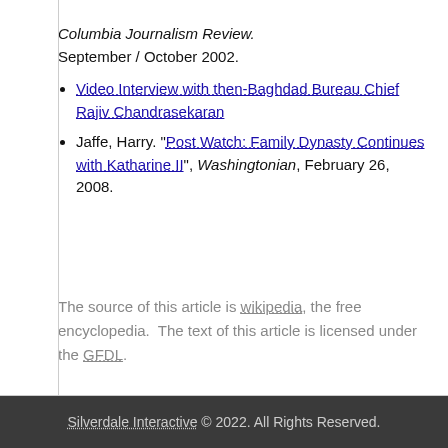Columbia Journalism Review.
September / October 2002.
Video Interview with then-Baghdad Bureau Chief Rajiv Chandrasekaran
Jaffe, Harry. "Post Watch: Family Dynasty Continues with Katharine II", Washingtonian, February 26, 2008.
The source of this article is wikipedia, the free encyclopedia.  The text of this article is licensed under the GFDL.
Silverdale Interactive © 2022. All Rights Reserved.